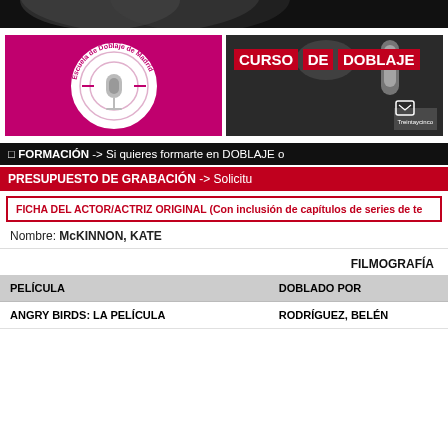[Figure (photo): Top black bar with partial silhouette image]
[Figure (logo): Escuela de Doblaje de Madrid logo on pink/magenta background with microphone and circular text]
[Figure (photo): Curso de Doblaje banner with red text boxes over dark photo of woman at microphone, Treintaycinco brand]
□ FORMACIÓN -> Si quieres formarte en DOBLAJE o
PRESUPUESTO DE GRABACIÓN -> Solicitu
FICHA DEL ACTOR/ACTRIZ ORIGINAL (Con inclusión de capítulos de series de te
Nombre: McKINNON, KATE
FILMOGRAFÍA
| PELÍCULA | DOBLADO POR |
| --- | --- |
| ANGRY BIRDS: LA PELÍCULA | RODRÍGUEZ, BELÉN |